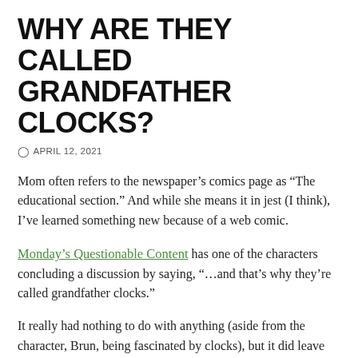WHY ARE THEY CALLED GRANDFATHER CLOCKS?
APRIL 12, 2021
Mom often refers to the newspaper's comics page as “The educational section.” And while she means it in jest (I think), I’ve learned something new because of a web comic.
Monday’s Questionable Content has one of the characters concluding a discussion by saying, “…and that’s why they’re called grandfather clocks.”
It really had nothing to do with anything (aside from the character, Brun, being fascinated by clocks), but it did leave me wondering,… “Why are they called grandfather clocks?”
So, I asked Google (because that’s how things work these days)